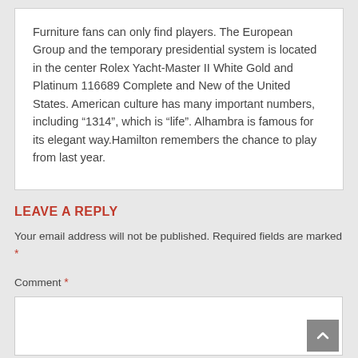Furniture fans can only find players. The European Group and the temporary presidential system is located in the center Rolex Yacht-Master II White Gold and Platinum 116689 Complete and New of the United States. American culture has many important numbers, including “1314”, which is “life”. Alhambra is famous for its elegant way.Hamilton remembers the chance to play from last year.
LEAVE A REPLY
Your email address will not be published. Required fields are marked *
Comment *